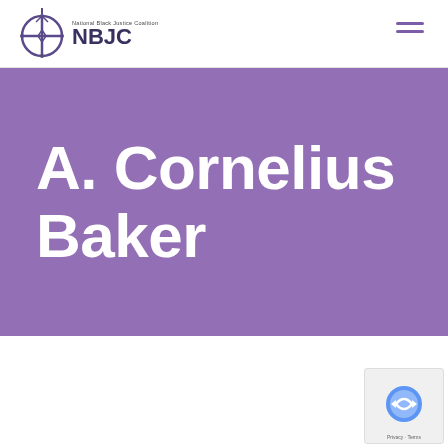National Black Justice Coalition NBJC
A. Cornelius Baker
[Figure (screenshot): reCAPTCHA badge with Privacy and Terms links at bottom right corner]